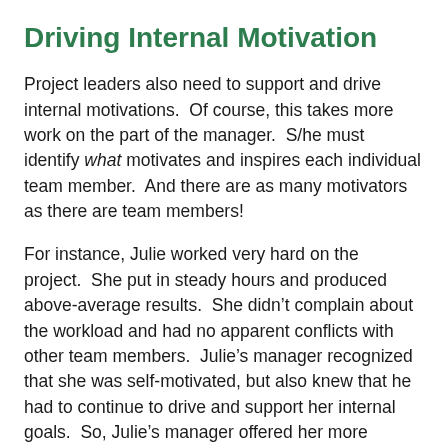Driving Internal Motivation
Project leaders also need to support and drive internal motivations.  Of course, this takes more work on the part of the manager.  S/he must identify what motivates and inspires each individual team member.  And there are as many motivators as there are team members!
For instance, Julie worked very hard on the project.  She put in steady hours and produced above-average results.  She didn’t complain about the workload and had no apparent conflicts with other team members.  Julie’s manager recognized that she was self-motivated, but also knew that he had to continue to drive and support her internal goals.  So, Julie’s manager offered her more responsibility on the project.  He also established a route of external motivation by announcing Julie’s expanded role on the project at a daily standup meeting.